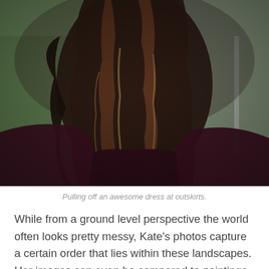[Figure (photo): Back view of a woman with long wavy auburn/brown hair wearing a dark burgundy dress, standing outdoors with a blurred green and grey background.]
Pulling off an awesome dress at outskirts.
While from a ground level perspective the world often looks pretty messy, Kate’s photos capture a certain order that lies within these landscapes. Her images can even be compared to paintings depicting life many years prior. Kate has an explanation for why that might persist.
It is about striving to do as well as possible, for yourself, not for outside approval; and not